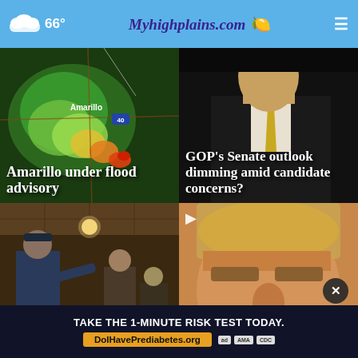☁ 66° | Myhighplains.com
[Figure (screenshot): Radar weather map showing storm system over Amarillo area with green/yellow/red precipitation colors]
Amarillo under flood advisory
[Figure (photo): Man in suit with yellow tie, blurred background, GOP Senate story]
GOP's Senate outlook dimming amid candidate concerns?
[Figure (photo): Law enforcement officer pointing at a shooting scene investigation]
Fun for ALGBT...
[Figure (photo): Close-up of Donald Trump's face with video play icon overlay]
Trump...sat
TAKE THE 1-MINUTE RISK TEST TODAY. DolHavePrediabetes.org